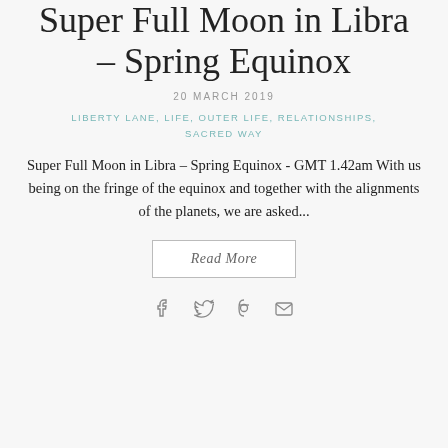Super Full Moon in Libra – Spring Equinox
20 MARCH 2019
LIBERTY LANE, LIFE, OUTER LIFE, RELATIONSHIPS, SACRED WAY
Super Full Moon in Libra – Spring Equinox - GMT 1.42am With us being on the fringe of the equinox and together with the alignments of the planets, we are asked...
Read More
[Figure (other): Social share icons: Facebook, Twitter, Pinterest, Email]